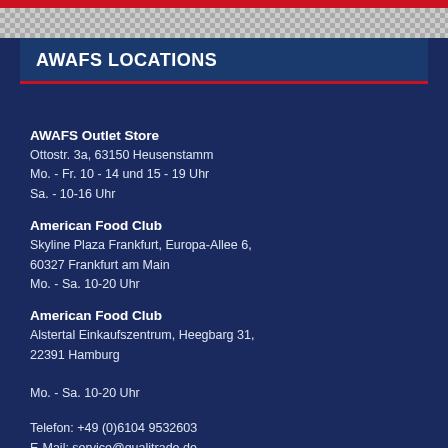AWAFS LOCATIONS
AWAFS Outlet Store
Ottostr. 3a, 63150 Heusenstamm
Mo. - Fr. 10 - 14 und 15 - 19 Uhr
Sa. - 10-16 Uhr
American Food Club
Skyline Plaza Frankfurt, Europa-Allee 6, 60327 Frankfurt am Main
Mo. - Sa. 10-20 Uhr
American Food Club
Alstertal Einkaufszentrum, Heegbarg 31, 22391 Hamburg

Mo. - Sa. 10-20 Uhr
Telefon: +49 (0)6104 9532603
E-Mail: service@qualitrade.de